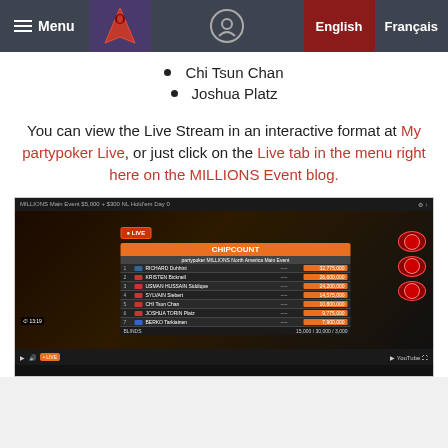Menu | [partypoker logo] | [location icon] | English | Français
Chi Tsun Chan
Joshua Platz
You can view the Live Stream in an interactive format at My partypoker Live, or just click on the Live tab in the menu right here on the MILLIONS Event blog.
[Figure (screenshot): Video player screenshot showing CHIPCOUNT leaderboard for partypoker MILLIONS North America Main Event with player chip counts: RICHARD Duhhini 32,775,000; KRISTEN Bicknell 26,600,000; USMAN HUSSAIN Siddiqqe 24,200,000; SYLVAIN Siebert 14,575,000; CHI Tsun Chan 10,800,000; JOSHUA TORIN Platz 9,775,000; BERKO Tarkiainen 7,900,000. Blinds: 15,000/30,000/3,000]